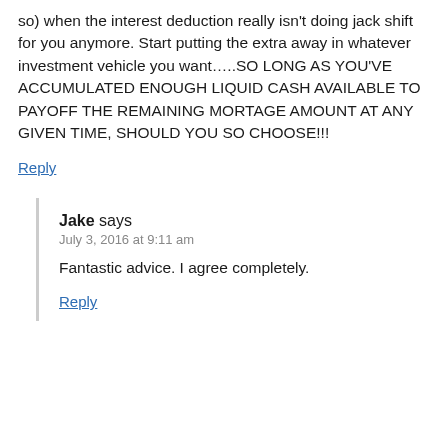so) when the interest deduction really isn't doing jack shift for you anymore. Start putting the extra away in whatever investment vehicle you want…..SO LONG AS YOU'VE ACCUMULATED ENOUGH LIQUID CASH AVAILABLE TO PAYOFF THE REMAINING MORTAGE AMOUNT AT ANY GIVEN TIME, SHOULD YOU SO CHOOSE!!!
Reply
Jake says
July 3, 2016 at 9:11 am
Fantastic advice. I agree completely.
Reply